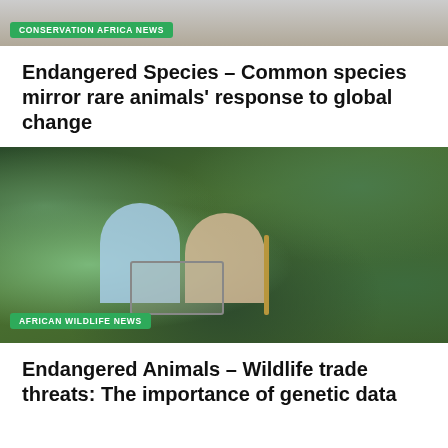[Figure (photo): Partial top image of a bird or animal, showing white and grey tones, cropped at top of page]
CONSERVATION AFRICA NEWS
Endangered Species – Common species mirror rare animals' response to global change
[Figure (photo): Two researchers wearing headlamps crouching in a jungle at night, examining a wire cage trap among dense tropical vegetation]
AFRICAN WILDLIFE NEWS
Endangered Animals – Wildlife trade threats: The importance of genetic data